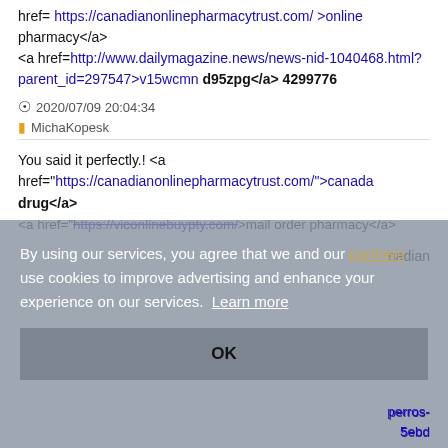href= https://canadianonlinepharmacytrust.com/ >online pharmacy</a> <a href=http://www.dailymagazine.news/news-nid-1040468.html?parent_id=297547>v15wcmn d95zpg</a> 4299776
2020/07/09 20:04:34
MichaKopesk
You said it perfectly.! <a href="https://canadianonlinepharmacytrust.com/">canada drug</a> <a href="https://viconlinebuypty.com/">mail order pharmacy</a> ...anadian
By using our services, you agree that we and our partners use cookies to improve advertising and enhance your experience on our services. Learn more
OK
perros- 5ebd